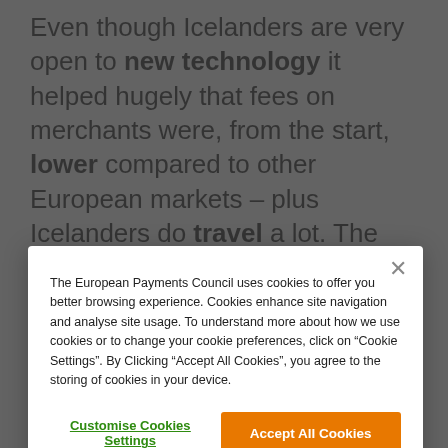Even though Icelanders are very open to new technology it helped hugely that fees on merchants were, from the start, lower compared to other European markets – plus Icelanders do travel a lot. The Icelandic currency is the smallest currency in the world, so it was very convenient to grab your card before you went abroad and still is, though mobile phones are now completely taking
The European Payments Council uses cookies to offer you better browsing experience. Cookies enhance site navigation and analyse site usage. To understand more about how we use cookies or to change your cookie preferences, click on "Cookie Settings". By Clicking "Accept All Cookies", you agree to the storing of cookies in your device.
Customise Cookies Settings
Accept All Cookies